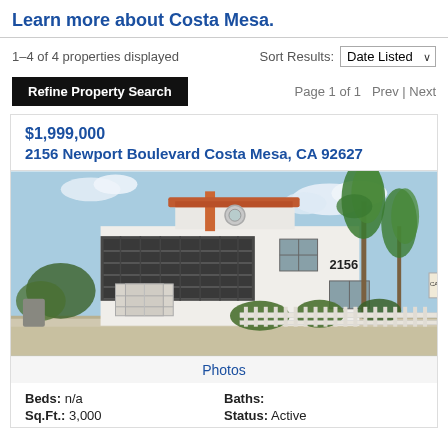Learn more about Costa Mesa.
1–4 of 4 properties displayed
Sort Results: Date Listed
Refine Property Search
Page 1 of 1  Prev | Next
$1,999,000
2156 Newport Boulevard Costa Mesa, CA 92627
[Figure (photo): Exterior photo of a two-story white Spanish-style commercial/residential building at 2156 Newport Boulevard, Costa Mesa, with palm trees and a white picket fence.]
Photos
Beds: n/a
Baths:
Sq.Ft.: 3,000
Status: Active